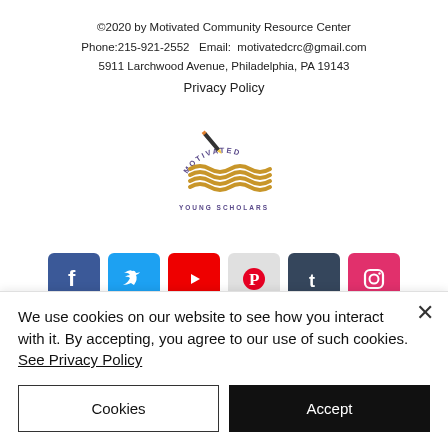©2020 by Motivated Community Resource Center
Phone:215-921-2552   Email:  motivatedcrc@gmail.com
5911 Larchwood Avenue, Philadelphia, PA 19143
Privacy Policy
[Figure (logo): Motivated Young Scholars logo — open book with pencil and arc text reading MOTIVATED above and YOUNG SCHOLARS below, in gold and dark blue colors]
[Figure (infographic): Row of six social media icon buttons: Facebook (blue), Twitter (light blue), YouTube (red), Pinterest (red/white), Tumblr (dark blue), Instagram (pink/magenta)]
We use cookies on our website to see how you interact with it. By accepting, you agree to our use of such cookies. See Privacy Policy
Cookies
Accept